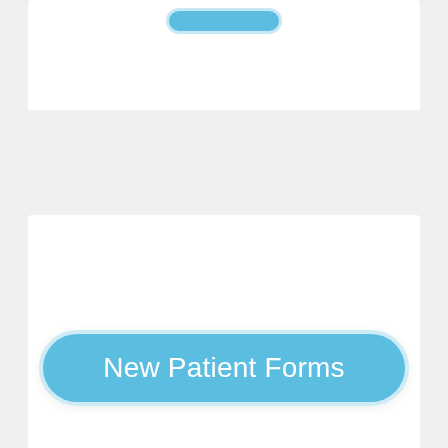[Figure (screenshot): A blue rounded button (partially visible at top of page) inside a white card]
[Figure (screenshot): A blue rounded button labeled 'New Patient Forms' centered in a white card]
KAILUA (808) 254-2339
970 N Kalaheo Ave,